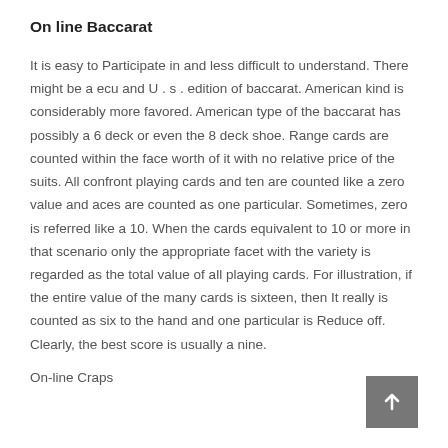On line Baccarat
It is easy to Participate in and less difficult to understand. There might be a ecu and U . s . edition of baccarat. American kind is considerably more favored. American type of the baccarat has possibly a 6 deck or even the 8 deck shoe. Range cards are counted within the face worth of it with no relative price of the suits. All confront playing cards and ten are counted like a zero value and aces are counted as one particular. Sometimes, zero is referred like a 10. When the cards equivalent to 10 or more in that scenario only the appropriate facet with the variety is regarded as the total value of all playing cards. For illustration, if the entire value of the many cards is sixteen, then It really is counted as six to the hand and one particular is Reduce off. Clearly, the best score is usually a nine.
On-line Craps